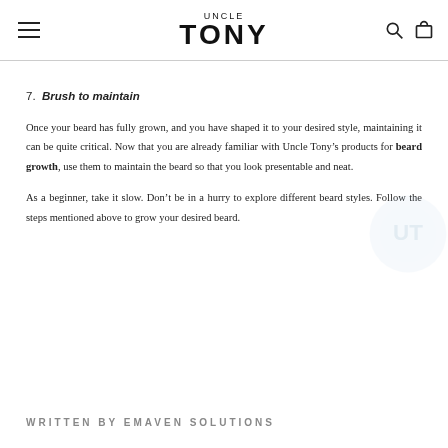UNCLE TONY
7. Brush to maintain
Once your beard has fully grown, and you have shaped it to your desired style, maintaining it can be quite critical. Now that you are already familiar with Uncle Tony’s products for beard growth, use them to maintain the beard so that you look presentable and neat.
As a beginner, take it slow. Don’t be in a hurry to explore different beard styles. Follow the steps mentioned above to grow your desired beard.
WRITTEN BY EMAVEN SOLUTIONS